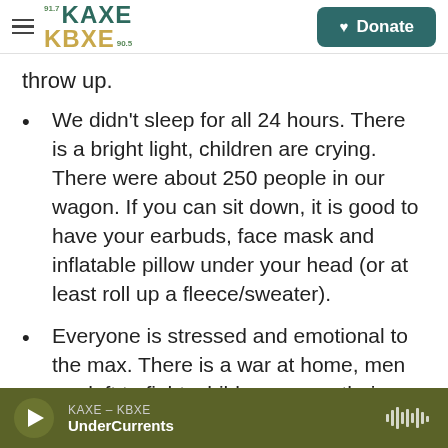KAXE 91.7 KBXE 90.5 | Donate
throw up.
We didn't sleep for all 24 hours. There is a bright light, children are crying. There were about 250 people in our wagon. If you can sit down, it is good to have your earbuds, face mask and inflatable pillow under your head (or at least roll up a fleece/sweater).
Everyone is stressed and emotional to the max. There is a war at home, men are left to fight, children are on their hands, everyone is stressed. The level of aggression was off the charts. That's
KAXE – KBXE | UnderCurrents